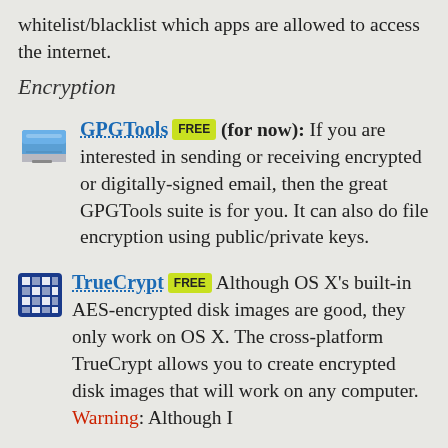whitelist/blacklist which apps are allowed to access the internet.
Encryption
GPGTools (for now): If you are interested in sending or receiving encrypted or digitally-signed email, then the great GPGTools suite is for you. It can also do file encryption using public/private keys.
TrueCrypt: Although OS X's built-in AES-encrypted disk images are good, they only work on OS X. The cross-platform TrueCrypt allows you to create encrypted disk images that will work on any computer. Warning: Although I